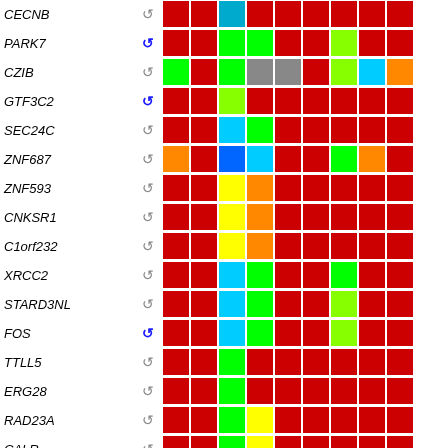[Figure (other): Heatmap grid showing gene expression data for multiple genes (CECNB, PARK7, CZIB, GTF3C2, SEC24C, ZNF687, ZNF593, CNKSR1, C1orf232, XRCC2, STARD3NL, FOS, TTLL5, ERG28, RAD23A, CALR) across multiple conditions/samples, colored with red, green, lime, cyan, orange, yellow, gray, and blue cells indicating expression levels. Each row has a gene name, a recycling/undo icon (blue or gray), and colored cells.]